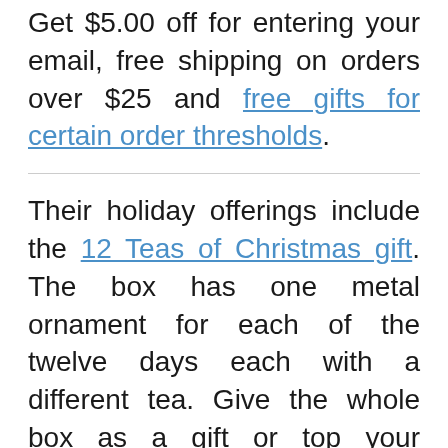Get $5.00 off for entering your email, free shipping on orders over $25 and free gifts for certain order thresholds.
Their holiday offerings include the 12 Teas of Christmas gift. The box has one metal ornament for each of the twelve days each with a different tea. Give the whole box as a gift or top your presents with an ornament each.
Their Christmas Advent Calendar is a way to enjoy a new tea every day